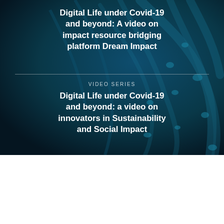[Figure (photo): Dark blue microscopic/virus image background with blue filamentous structures against a dark teal-navy background]
Digital Life under Covid-19 and beyond: A video on impact resource bridging platform Dream Impact
VIDEO SERIES
Digital Life under Covid-19 and beyond: a video on innovators in Sustainability and Social Impact
In Focus